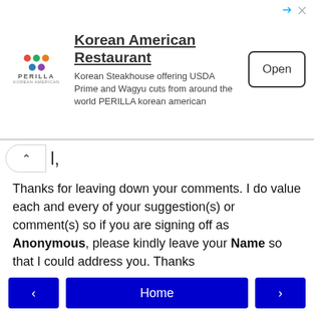[Figure (other): Advertisement banner for Korean American Restaurant (PERILLA) with logo, description text, and Open button]
l,
Thanks for leaving down your comments. I do value each and every of your suggestion(s) or comment(s) so if you are signing off as Anonymous, please kindly leave your Name so that I could address you. Thanks

Lastly, please DO NOT SPAM as Spam comments will be deleted immediately.

Regards
Ellena (Cuisine Paradise)
< Home >